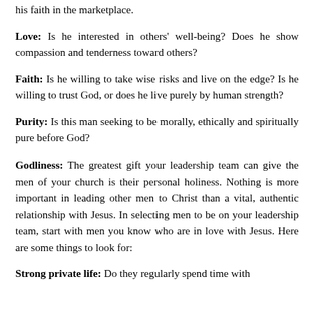his faith in the marketplace.
Love: Is he interested in others' well-being? Does he show compassion and tenderness toward others?
Faith: Is he willing to take wise risks and live on the edge? Is he willing to trust God, or does he live purely by human strength?
Purity: Is this man seeking to be morally, ethically and spiritually pure before God?
Godliness: The greatest gift your leadership team can give the men of your church is their personal holiness. Nothing is more important in leading other men to Christ than a vital, authentic relationship with Jesus. In selecting men to be on your leadership team, start with men you know who are in love with Jesus. Here are some things to look for:
Strong private life: Do they regularly spend time with